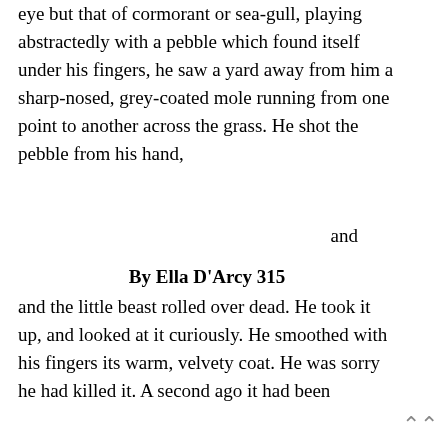eye but that of cormorant or sea-gull, playing abstractedly with a pebble which found itself under his fingers, he saw a yard away from him a sharp-nosed, grey-coated mole running from one point to another across the grass. He shot the pebble from his hand,
and
By Ella D'Arcy 315
and the little beast rolled over dead. He took it up, and looked at it curiously. He smoothed with his fingers its warm, velvety coat. He was sorry he had killed it. A second ago it had been